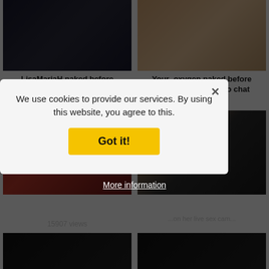[Figure (photo): Thumbnail photo of LisaMariaH, dark background]
[Figure (photo): Thumbnail photo of Your_oxygen, light background]
LisaMariaH naked before webcam in live video chat
4174 views
Your_oxygen naked before webcam in live video chat
26735 views
[Figure (photo): Thumbnail photo of FancyLily, red curtain background]
[Figure (photo): Thumbnail photo, dark background]
FancyLily naked befo... webcam in live... 15907 views
We use cookies to provide our services. By using this website, you agree to this.
Got it!
More information